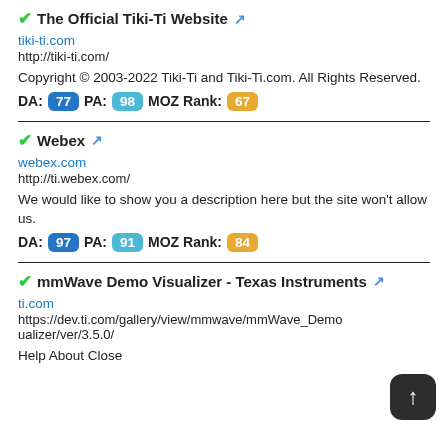The Official Tiki-Ti Website
tiki-ti.com
http://tiki-ti.com/
Copyright © 2003-2022 Tiki-Ti and Tiki-Ti.com. All Rights Reserved.
DA: 77 PA: 98 MOZ Rank: 67
Webex
webex.com
http://ti.webex.com/
We would like to show you a description here but the site won't allow us.
DA: 97 PA: 91 MOZ Rank: 84
mmWave Demo Visualizer - Texas Instruments
ti.com
https://dev.ti.com/gallery/view/mmwave/mmWave_Demo_Visualizer/ver/3.5.0/
Help About Close